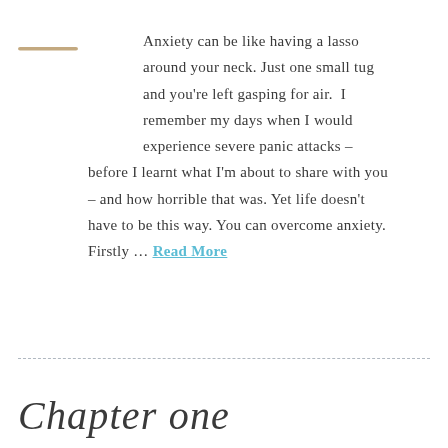Anxiety can be like having a lasso around your neck. Just one small tug and you're left gasping for air. I remember my days when I would experience severe panic attacks – before I learnt what I'm about to share with you – and how horrible that was. Yet life doesn't have to be this way. You can overcome anxiety. Firstly … Read More
[Figure (illustration): Decorative horizontal dash/line element used as a bullet or list marker, rendered in a brownish/tan color]